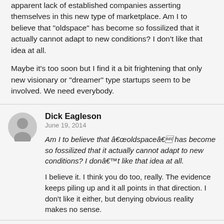apparent lack of established companies asserting themselves in this new type of marketplace. Am I to believe that "oldspace" has become so fossilized that it actually cannot adapt to new conditions? I don't like that idea at all.
Maybe it's too soon but I find it a bit frightening that only new visionary or "dreamer" type startups seem to be involved. We need everybody.
Dick Eagleson
June 19, 2014
Am I to believe that â€œoldspaceâ€ has become so fossilized that it actually cannot adapt to new conditions? I donâ€™t like that idea at all.
I believe it. I think you do too, really. The evidence keeps piling up and it all points in that direction. I don't like it either, but denying obvious reality makes no sense.
Michael Kent